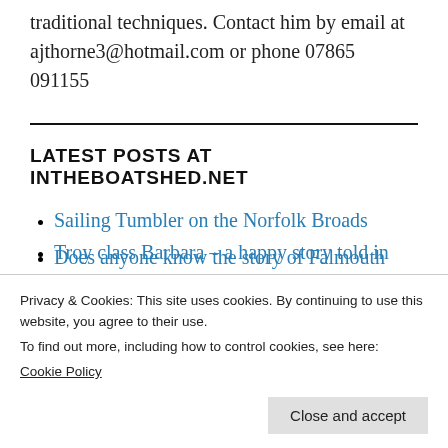traditional techniques. Contact him by email at ajthorne3@hotmail.com or phone 07865 091155
LATEST POSTS AT INTHEBOATSHED.NET
Sailing Tumbler on the Norfolk Broads
Does anyone know the story of Falmouth Quay punt Venti?
Troy class Barbara – a happy story told in
Privacy & Cookies: This site uses cookies. By continuing to use this website, you agree to their use.
To find out more, including how to control cookies, see here:
Cookie Policy
Close and accept